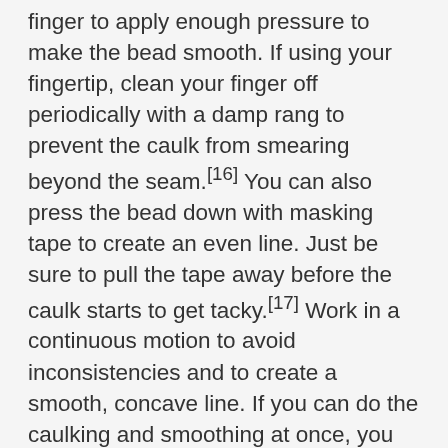finger to apply enough pressure to make the bead smooth. If using your fingertip, clean your finger off periodically with a damp rang to prevent the caulk from smearing beyond the seam.[16] You can also press the bead down with masking tape to create an even line. Just be sure to pull the tape away before the caulk starts to get tacky.[17] Work in a continuous motion to avoid inconsistencies and to create a smooth, concave line. If you can do the caulking and smoothing at once, you will save yourself time. Place the tip of your index finger over the joint as you caulk. By applying a small amount of even and consistent downward pressure, you will be able to apply and smooth the caulk at once. Smoothing is essential for both aesthetic and practical purposes. During the smoothing